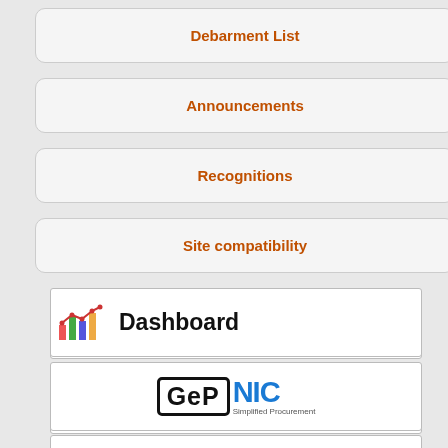Debarment List
Announcements
Recognitions
Site compatibility
[Figure (logo): Dashboard button with chart icon and text Dashboard]
[Figure (logo): GeP NIC Simplified Procurement logo]
[Figure (logo): india.gov.in - The national portal of India]
[Figure (logo): up.gov.in - Uttar Pradesh Govt Portal with UP seal]
[Figure (logo): Government of India Central Public Procurement Portal]